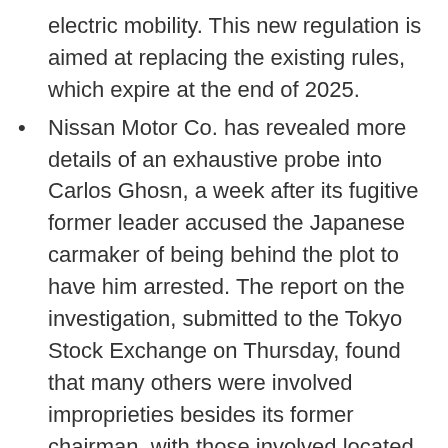electric mobility. This new regulation is aimed at replacing the existing rules, which expire at the end of 2025.
Nissan Motor Co. has revealed more details of an exhaustive probe into Carlos Ghosn, a week after its fugitive former leader accused the Japanese carmaker of being behind the plot to have him arrested. The report on the investigation, submitted to the Tokyo Stock Exchange on Thursday, found that many others were involved improprieties besides its former chairman, with those involved located both in Japan and overseas. Three people in senior roles were punished for their involvement, though their names, titles and specific steps to discipline them were not revealed. Nissan was required to submit the report after adjusting its past earnings following